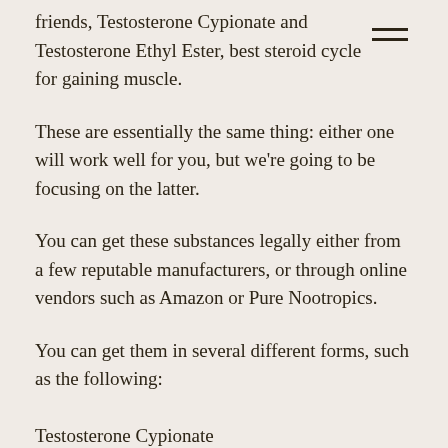friends, Testosterone Cypionate and Testosterone Ethyl Ester, best steroid cycle for gaining muscle.
These are essentially the same thing: either one will work well for you, but we're going to be focusing on the latter.
You can get these substances legally either from a few reputable manufacturers, or through online vendors such as Amazon or Pure Nootropics.
You can get them in several different forms, such as the following:
Testosterone Cypionate
Testosterone Ethyl Ester
L-Carnitine